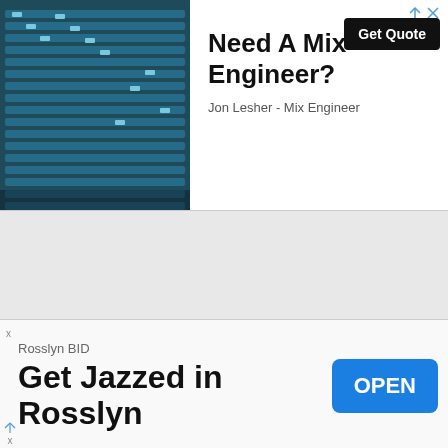[Figure (photo): Top ad banner with mixing board photo on left, text 'Need A Mix Engineer?' and 'Get Quote' button, subtext 'Jon Lesher - Mix Engineer']
[Figure (screenshot): News article with photo of Gwyneth Paltrow in black dress at event with red/white background logos]
Gwyneth Paltrow is joining Shark Tank
[Figure (infographic): Bottom advertisement for Rosslyn BID: 'Get Jazzed in Rosslyn' with OPEN button]